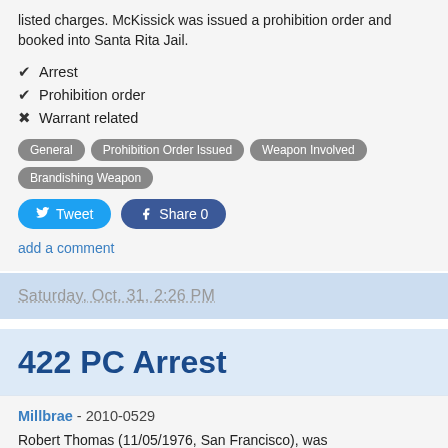listed charges. McKissick was issued a prohibition order and booked into Santa Rita Jail.
✔ Arrest
✔ Prohibition order
✖ Warrant related
General  Prohibition Order Issued  Weapon Involved  Brandishing Weapon
Tweet  Share 0
add a comment
Saturday, Oct. 31, 2:26 PM
422 PC Arrest
Millbrae - 2010-0529
Robert Thomas (11/05/1976, San Francisco), was